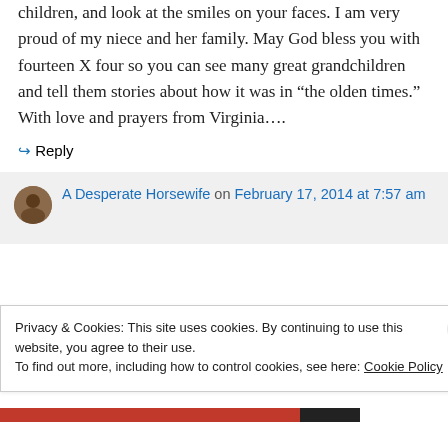children, and look at the smiles on your faces. I am very proud of my niece and her family. May God bless you with fourteen X four so you can see many great grandchildren and tell them stories about how it was in “the olden times.” With love and prayers from Virginia….
↪ Reply
A Desperate Horsewife on February 17, 2014 at 7:57 am
Privacy & Cookies: This site uses cookies. By continuing to use this website, you agree to their use.
To find out more, including how to control cookies, see here: Cookie Policy
Close and accept